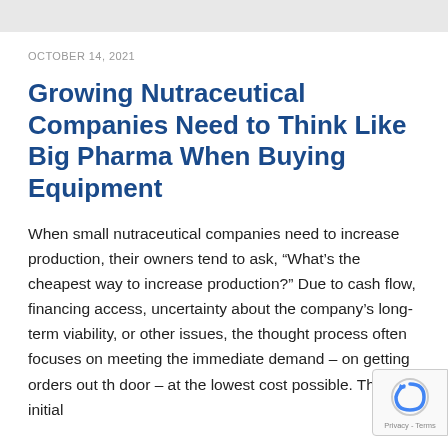OCTOBER 14, 2021
Growing Nutraceutical Companies Need to Think Like Big Pharma When Buying Equipment
When small nutraceutical companies need to increase production, their owners tend to ask, “What’s the cheapest way to increase production?” Due to cash flow, financing access, uncertainty about the company’s long-term viability, or other issues, the thought process often focuses on meeting the immediate demand – on getting orders out the door – at the lowest cost possible. The initial